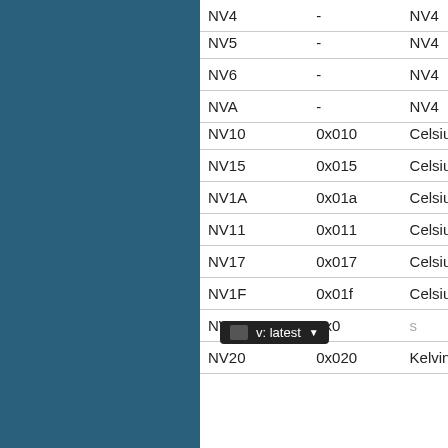| Name | Code | Type |
| --- | --- | --- |
| NV4 | - | NV4 |
| NV5 | - | NV4 |
| NV6 | - | NV4 |
| NVA | - | NV4 |
| NV10 | 0x010 | Celsius |
| NV15 | 0x015 | Celsius |
| NV1A | 0x01a | Celsius |
| NV11 | 0x011 | Celsius |
| NV17 | 0x017 | Celsius |
| NV1F | 0x01f | Celsius |
| NV18 | 0x01… | Celsius |
| NV20 | 0x020 | Kelvin |